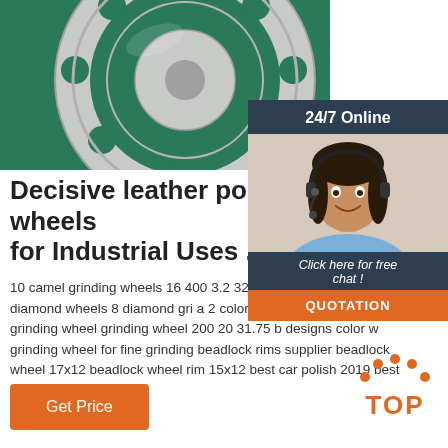[Figure (photo): Close-up photo of a circular metal grinding/polishing wheel with holes, on a green background]
[Figure (photo): 24/7 Online chat widget with a smiling woman wearing a headset, dark navy background, 'Click here for free chat!' text and QUOTATION button]
Decisive leather polishing wheel for Industrial Uses ...
10 camel grinding wheels 16 400 3.2 32mm cu 6mm diameter diamond wheels 8 diamond gri a 2 color wheel a2o3 abrasive grinding wheel grinding wheel 200 20 31.75 b designs color w grinding wheel for fine grinding beadlock rims supplier beadlock wheel 17x12 beadlock wheel rim 15x12 best car polish 2019 best ...
[Figure (other): TOP badge with orange dots arc and bold orange TOP text]
Get Price